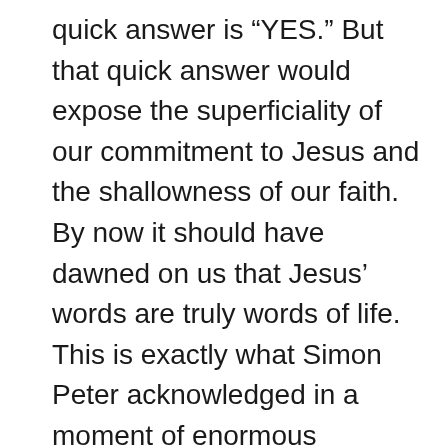quick answer is “YES.” But that quick answer would expose the superficiality of our commitment to Jesus and the shallowness of our faith. By now it should have dawned on us that Jesus’ words are truly words of life. This is exactly what Simon Peter acknowledged in a moment of enormous collective crisis among the disciples. (John 6:68)
They are words of life or, rather, alive words the way electric power